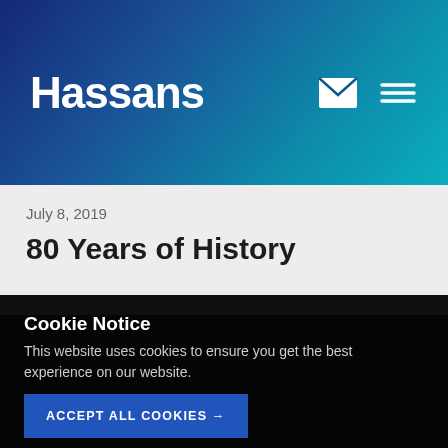Hassans
July 8, 2019
80 Years of History
Cookie Notice
This website uses cookies to ensure you get the best experience on our website.
ACCEPT ALL COOKIES →
USE NECESSARY COOKIES ONLY →